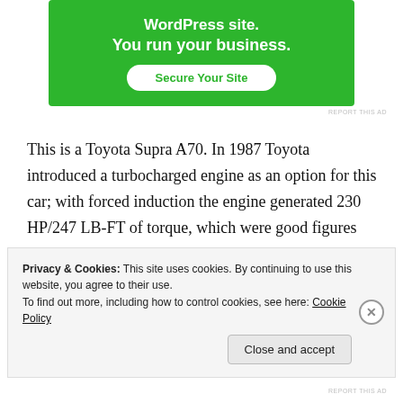[Figure (other): Green advertisement banner showing 'WordPress site. You run your business.' with a 'Secure Your Site' button]
REPORT THIS AD
This is a Toyota Supra A70. In 1987 Toyota introduced a turbocharged engine as an option for this car; with forced induction the engine generated 230 HP/247 LB-FT of torque, which were good figures for 1987. For the
Privacy & Cookies: This site uses cookies. By continuing to use this website, you agree to their use.
To find out more, including how to control cookies, see here: Cookie Policy
Close and accept
REPORT THIS AD